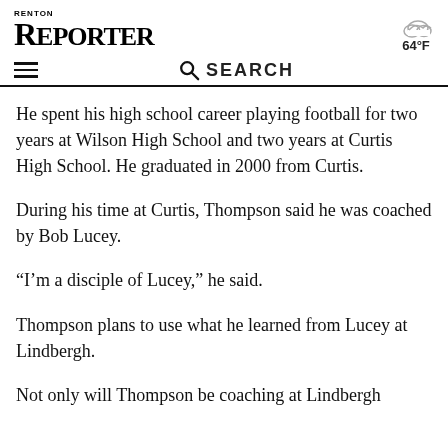Renton Reporter
He spent his high school career playing football for two years at Wilson High School and two years at Curtis High School. He graduated in 2000 from Curtis.
During his time at Curtis, Thompson said he was coached by Bob Lucey.
“I’m a disciple of Lucey,” he said.
Thompson plans to use what he learned from Lucey at Lindbergh.
Not only will Thompson be coaching at Lindbergh